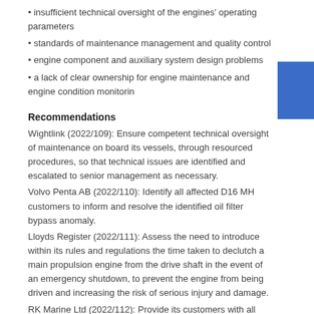• insufficient technical oversight of the engines' operating parameters
• standards of maintenance management and quality control
• engine component and auxiliary system design problems
• a lack of clear ownership for engine maintenance and engine condition monitorin
Recommendations
Wightlink (2022/109): Ensure competent technical oversight of maintenance on board its vessels, through resourced procedures, so that technical issues are identified and escalated to senior management as necessary.
Volvo Penta AB (2022/110): Identify all affected D16 MH customers to inform and resolve the identified oil filter bypass anomaly.
Lloyds Register (2022/111): Assess the need to introduce within its rules and regulations the time taken to declutch a main propulsion engine from the drive shaft in the event of an emergency shutdown, to prevent the engine from being driven and increasing the risk of serious injury and damage.
RK Marine Ltd (2022/112): Provide its customers with all manufacturers' safety bulletins applicable to the engines in use.
Source: MAIB